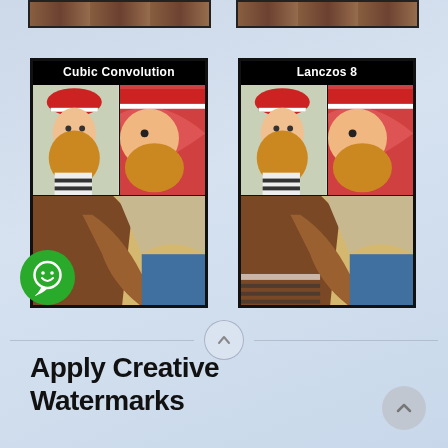[Figure (screenshot): Two side-by-side image comparison panels showing a cartoon bearded sailor illustration. Left panel labeled 'Cubic Convolution', right panel labeled 'Lanczos 8'. Each panel shows a 2x2 grid of zoomed image sections.]
[Figure (illustration): Green circular chat bubble icon with white smiley-face chat symbol]
[Figure (other): Scroll up chevron button with horizontal lines on each side]
Apply Creative Watermarks
[Figure (other): Gray circular scroll/navigation button at bottom right]